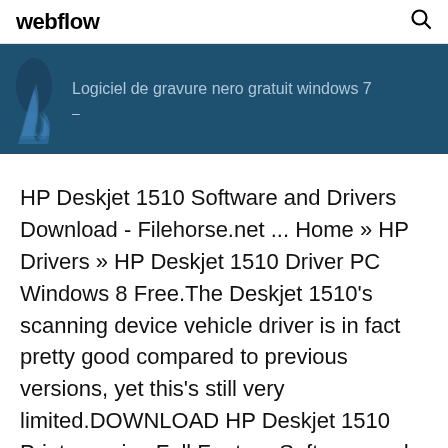webflow
[Figure (screenshot): Dark blue banner with a stylized flame/figure icon on the left and text 'Logiciel de gravure nero gratuit windows 7' in grey]
HP Deskjet 1510 Software and Drivers Download - Filehorse.net ... Home » HP Drivers » HP Deskjet 1510 Driver PC Windows 8 Free.The Deskjet 1510's scanning device vehicle driver is in fact pretty good compared to previous versions, yet this's still very limited.DOWNLOAD HP Deskjet 1510 Printer series Full Feature Software and